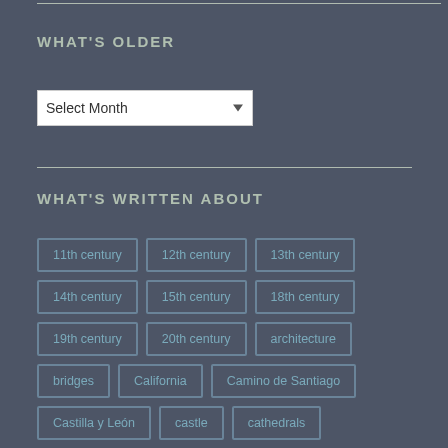WHAT'S OLDER
[Figure (screenshot): Select Month dropdown widget]
WHAT'S WRITTEN ABOUT
11th century
12th century
13th century
14th century
15th century
18th century
19th century
20th century
architecture
bridges
California
Camino de Santiago
Castilla y León
castle
cathedrals